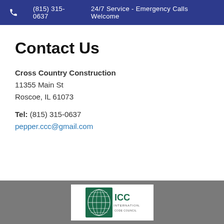(815) 315-0637   24/7 Service - Emergency Calls Welcome
Contact Us
Cross Country Construction
11355 Main St
Roscoe, IL 61073
Tel: (815) 315-0637
pepper.ccc@gmail.com
[Figure (logo): ICC International logo in green with globe grid design]